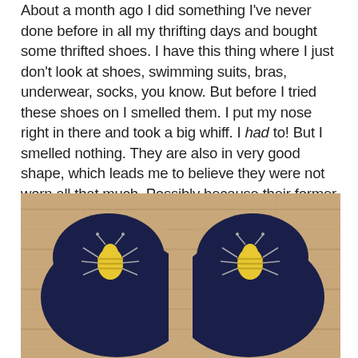About a month ago I did something I've never done before in all my thrifting days and bought some thrifted shoes. I have this thing where I just don't look at shoes, swimming suits, bras, underwear, socks, you know. But before I tried these shoes on I smelled them. I put my nose right in there and took a big whiff. I had to! But I smelled nothing. They are also in very good shape, which leads me to believe they were not worn all that much. Possibly because their former owner didn't have enough confidence, in the end, to pull them off:
[Figure (photo): Overhead view of two dark navy blue needlepoint loafer shoes with golden bee embroidery on the toes, placed on a wooden floor background.]